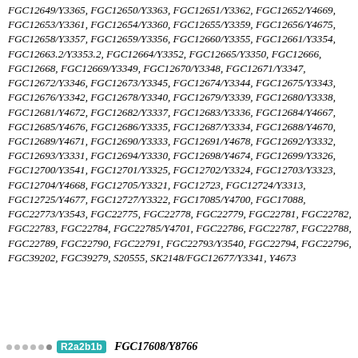FGC12649/Y3365, FGC12650/Y3363, FGC12651/Y3362, FGC12652/Y4669, FGC12653/Y3361, FGC12654/Y3360, FGC12655/Y3359, FGC12656/Y4675, FGC12658/Y3357, FGC12659/Y3356, FGC12660/Y3355, FGC12661/Y3354, FGC12663.2/Y3353.2, FGC12664/Y3352, FGC12665/Y3350, FGC12666, FGC12668, FGC12669/Y3349, FGC12670/Y3348, FGC12671/Y3347, FGC12672/Y3346, FGC12673/Y3345, FGC12674/Y3344, FGC12675/Y3343, FGC12676/Y3342, FGC12678/Y3340, FGC12679/Y3339, FGC12680/Y3338, FGC12681/Y4672, FGC12682/Y3337, FGC12683/Y3336, FGC12684/Y4667, FGC12685/Y4676, FGC12686/Y3335, FGC12687/Y3334, FGC12688/Y4670, FGC12689/Y4671, FGC12690/Y3333, FGC12691/Y4678, FGC12692/Y3332, FGC12693/Y3331, FGC12694/Y3330, FGC12698/Y4674, FGC12699/Y3326, FGC12700/Y3541, FGC12701/Y3325, FGC12702/Y3324, FGC12703/Y3323, FGC12704/Y4668, FGC12705/Y3321, FGC12723, FGC12724/Y3313, FGC12725/Y4677, FGC12727/Y3322, FGC17085/Y4700, FGC17088, FGC22773/Y3543, FGC22775, FGC22778, FGC22779, FGC22781, FGC22782, FGC22783, FGC22784, FGC22785/Y4701, FGC22786, FGC22787, FGC22788, FGC22789, FGC22790, FGC22791, FGC22793/Y3540, FGC22794, FGC22796, FGC39202, FGC39279, S20555, SK2148/FGC12677/Y3341, Y4673
R2a2b1b  FGC17608/Y8766